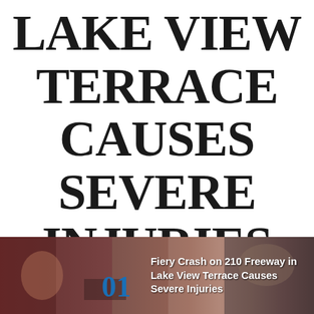LAKE VIEW TERRACE CAUSES SEVERE INJURIES
[Figure (photo): Photograph of a fiery crash scene on the 210 Freeway in Lake View Terrace, with emergency scene visible. Overlaid text shows number '01' and caption 'Fiery Crash on 210 Freeway in Lake View Terrace Causes Severe Injuries'.]
Fiery Crash on 210 Freeway in Lake View Terrace Causes Severe Injuries